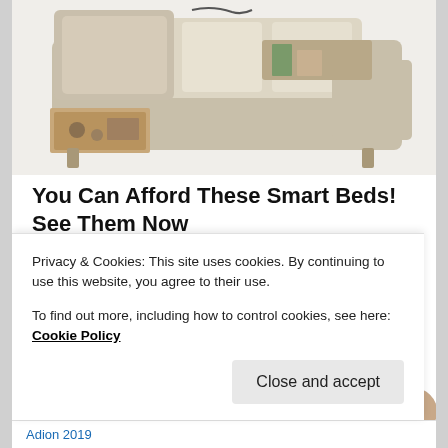[Figure (photo): Photo of a beige/cream smart bed with storage drawers open underneath and a tray on top]
You Can Afford These Smart Beds! See Them Now
Smart Bed | Search Ads
SHARE THIS:
Twitter  Facebook
Like
Privacy & Cookies: This site uses cookies. By continuing to use this website, you agree to their use.
To find out more, including how to control cookies, see here: Cookie Policy
Close and accept
Adion 2019